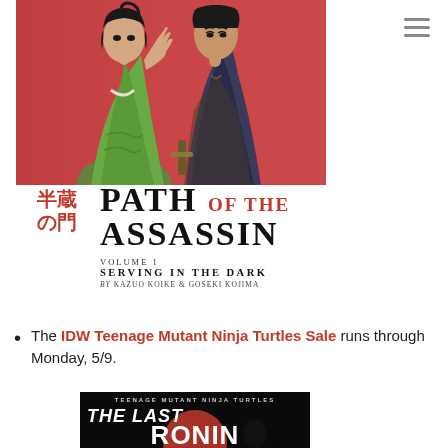[Figure (illustration): Book cover art for 'Path of the Assassin' showing two manga-style figures (a woman in green kimono and a man in dark clothing) against a red background]
半蔵の門 PATH OF THE ASSASSIN VOLUME 1 SERVING IN THE DARK by Kazuo Koike & Goseki Kojima
The IDW Teenage Mutant Ninja Turtles Sale runs through Monday, 5/9.
[Figure (illustration): Book cover for 'Teenage Mutant Ninja Turtles: The Last Ronin' showing white text on dark background with a red circle and ninja figure]